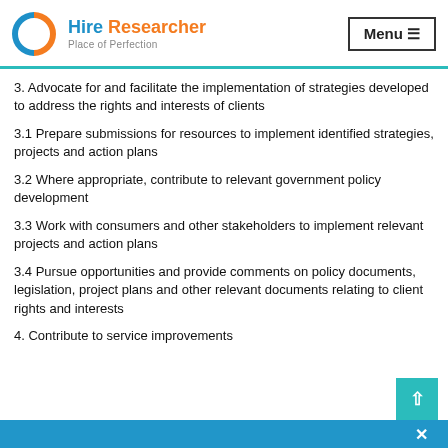Hire Researcher — Place of Perfection | Menu
3. Advocate for and facilitate the implementation of strategies developed to address the rights and interests of clients
3.1 Prepare submissions for resources to implement identified strategies, projects and action plans
3.2 Where appropriate, contribute to relevant government policy development
3.3 Work with consumers and other stakeholders to implement relevant projects and action plans
3.4 Pursue opportunities and provide comments on policy documents, legislation, project plans and other relevant documents relating to client rights and interests
4. Contribute to service improvements